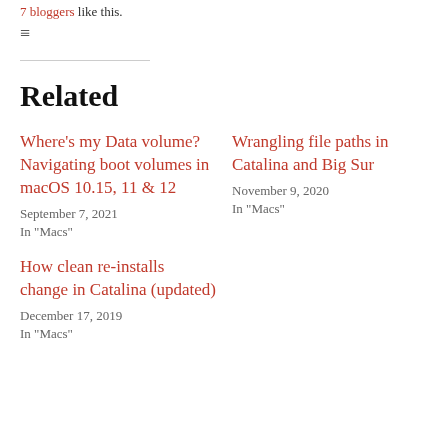7 bloggers like this.
Related
Where's my Data volume? Navigating boot volumes in macOS 10.15, 11 & 12
September 7, 2021
In "Macs"
Wrangling file paths in Catalina and Big Sur
November 9, 2020
In "Macs"
How clean re-installs change in Catalina (updated)
December 17, 2019
In "Macs"